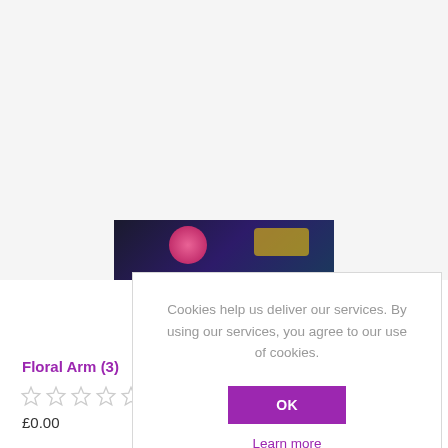[Figure (photo): Partial product image showing dark colored fabric/clothing item with colorful embroidery or print, partially obscured by cookie consent modal]
Cookies help us deliver our services. By using our services, you agree to our use of cookies.
OK
Learn more
Floral Arm (3)
[Figure (other): Five empty star rating icons (0 out of 5 stars)]
£0.00